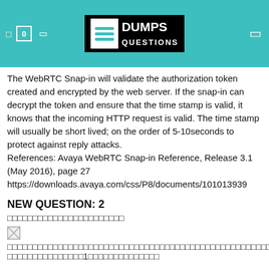DUMPS QUESTIONS
The WebRTC Snap-in will validate the authorization token created and encrypted by the web server. If the snap-in can decrypt the token and ensure that the time stamp is valid, it knows that the incoming HTTP request is valid. The time stamp will usually be short lived; on the order of 5-10seconds to protect against reply attacks.
References: Avaya WebRTC Snap-in Reference, Release 3.1 (May 2016), page 27
https://downloads.avaya.com/css/P8/documents/101013939
NEW QUESTION: 2
日本語テキスト（問題文）
[Figure (other): Broken image placeholder]
日本語テキスト（選択肢と説明）1日本語テキスト続き